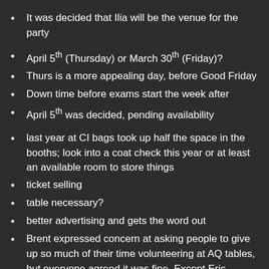It was decided that Ilia will be the venue for the party
April 5th (Thursday) or March 30th (Friday)?
Thurs is a more appealing day, before Good Friday
Down time before exams start the week after
April 5th was decided, pending availability
last year at CI bags took up half the space in the booths; look into a coat check this year or at least an available room to store things
ticket selling
table necessary?
better advertising and gets the word out
Brent expressed concern at asking people to give up so much of their time volunteering at AQ tables, but everyone agreed it was fine. Except Eric.
otherwise buy at kin main office
sign out a number of tickets and sell them on your own